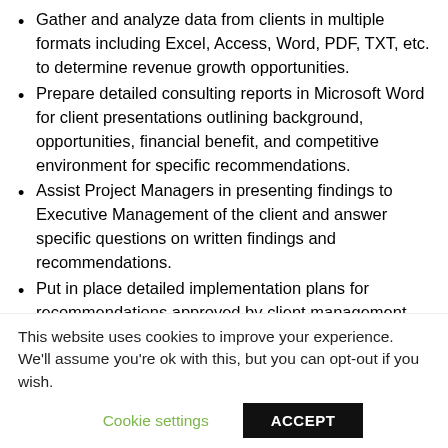Gather and analyze data from clients in multiple formats including Excel, Access, Word, PDF, TXT, etc. to determine revenue growth opportunities.
Prepare detailed consulting reports in Microsoft Word for client presentations outlining background, opportunities, financial benefit, and competitive environment for specific recommendations.
Assist Project Managers in presenting findings to Executive Management of the client and answer specific questions on written findings and recommendations.
Put in place detailed implementation plans for recommendations approved by client management.
Develop monitoring spreadsheets for clients and assist in tracking results.
Qualifications:
3 to 5 years of banking experience, preferably in the
This website uses cookies to improve your experience. We'll assume you're ok with this, but you can opt-out if you wish.
Cookie settings   ACCEPT